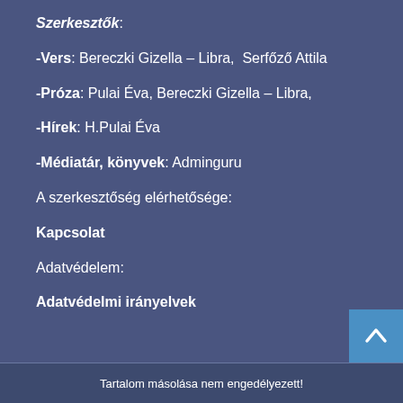Szerkesztők:
-Vers: Bereczki Gizella – Libra,  Serfőző Attila
-Próza: Pulai Éva, Bereczki Gizella – Libra,
-Hírek: H.Pulai Éva
-Médiatár, könyvek: Adminguru
A szerkesztőség elérhetősége:
Kapcsolat
Adatvédelem:
Adatvédelmi irányelvek
Tartalom másolása nem engedélyezett!